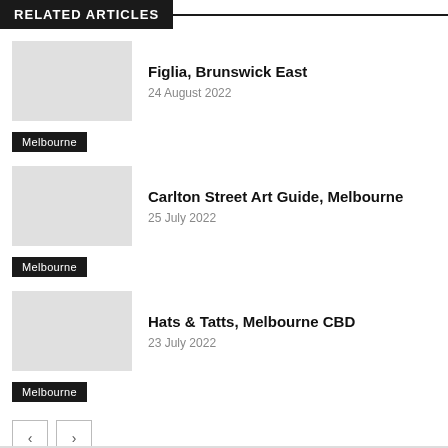RELATED ARTICLES
Figlia, Brunswick East
24 August 2022
Melbourne
Carlton Street Art Guide, Melbourne
25 July 2022
Melbourne
Hats & Tatts, Melbourne CBD
23 July 2022
Melbourne